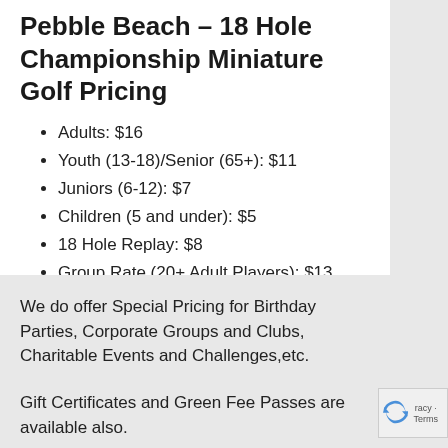Pebble Beach – 18 Hole Championship Miniature Golf Pricing
Adults: $16
Youth (13-18)/Senior (65+): $11
Juniors (6-12): $7
Children (5 and under): $5
18 Hole Replay: $8
Group Rate (20+ Adult Players): $13
We do offer Special Pricing for Birthday Parties, Corporate Groups and Clubs, Charitable Events and Challenges,etc.
Gift Certificates and Green Fee Passes are available also.